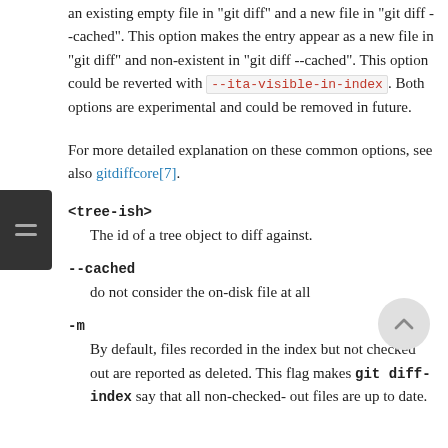an existing empty file in "git diff" and a new file in "git diff --cached". This option makes the entry appear as a new file in "git diff" and non-existent in "git diff --cached". This option could be reverted with --ita-visible-in-index. Both options are experimental and could be removed in future.
For more detailed explanation on these common options, see also gitdiffcore[7].
<tree-ish>
    The id of a tree object to diff against.
--cached
    do not consider the on-disk file at all
-m
    By default, files recorded in the index but not checked out are reported as deleted. This flag makes git diff-index say that all non-checked-out files are up to date.